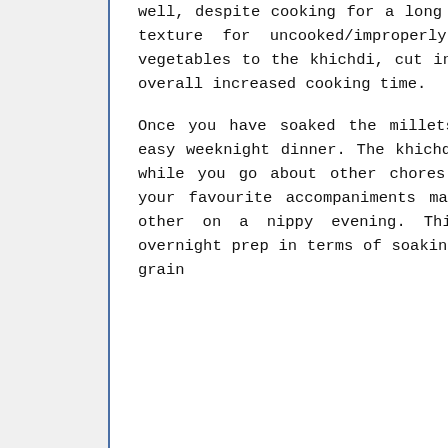well, despite cooking for a long time. Do not mistake the chewy texture for uncooked/improperly cooked millet. When adding vegetables to the khichdi, cut into large chunks because of the overall increased cooking time.
Once you have soaked the millets for 12 hours, this makes an easy weeknight dinner. The khichdi cooks in the pressure cooker while you go about other chores. A plate of hot khichdi with your favourite accompaniments makes a comforting meal like no other on a nippy evening. This pearl millet recipe needs overnight prep in terms of soaking. That apart, this gluten free grain